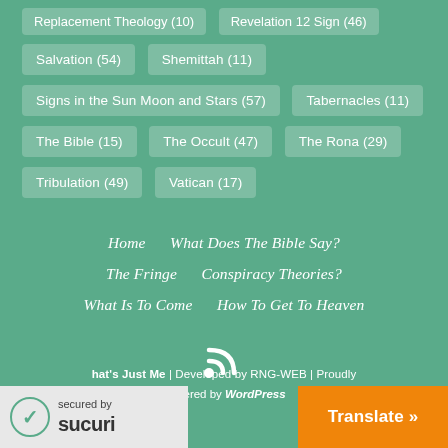Replacement Theology (10)
Revelation 12 Sign (46)
Salvation (54)
Shemittah (11)
Signs in the Sun Moon and Stars (57)
Tabernacles (11)
The Bible (15)
The Occult (47)
The Rona (29)
Tribulation (49)
Vatican (17)
Home   What Does The Bible Say?   The Fringe   Conspiracy Theories?   What Is To Come   How To Get To Heaven
[Figure (illustration): RSS feed icon (white signal waves on green background)]
That's Just Me | Developed by RNG-WEB | Proudly powered by WordPress
secured by Sucuri
Translate »